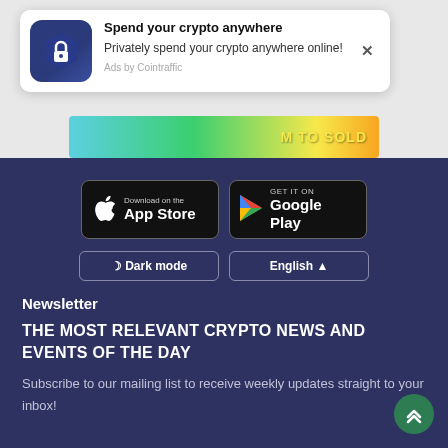[Figure (screenshot): Ad popup card with dark blue hexagonal lock icon, title 'Spend your crypto anywhere', description 'Privately spend your crypto anywhere online!', 'Ads by Cointraffic' label, and X close button. Below it a colorful banner strip with 'M TO SOLD' text in yellow.]
[Figure (infographic): Dark navy blue footer section with App Store and Google Play download buttons, Dark mode and English toggle buttons, Newsletter section with headline 'THE MOST RELEVANT CRYPTO NEWS AND EVENTS OF THE DAY', subtitle text, and a green scroll-to-top circular button.]